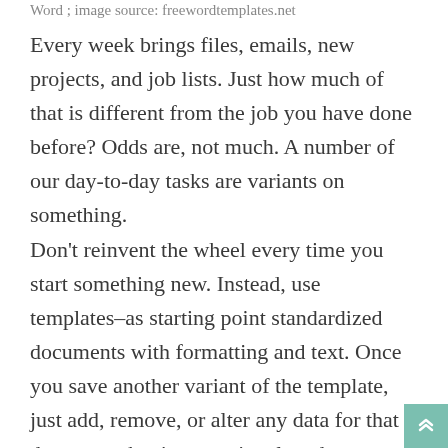Word ; image source: freewordtemplates.net
Every week brings files, emails, new projects, and job lists. Just how much of that is different from the job you have done before? Odds are, not much. A number of our day-to-day tasks are variants on something. Don’t reinvent the wheel every time you start something new. Instead, use templates–as starting point standardized documents with formatting and text. Once you save another variant of the template, just add, remove, or alter any data for that document that is exceptional, and you are going to have the new job.